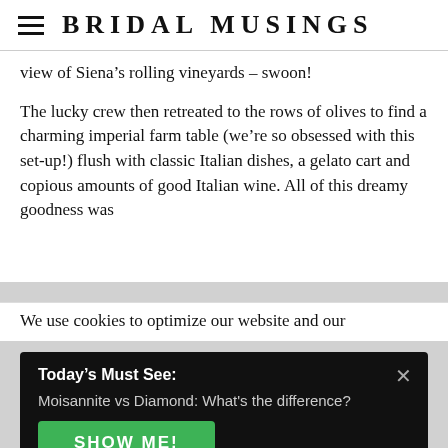BRIDAL MUSINGS
view of Siena’s rolling vineyards – swoon!
The lucky crew then retreated to the rows of olives to find a charming imperial farm table (we’re so obsessed with this set-up!) flush with classic Italian dishes, a gelato cart and copious amounts of good Italian wine. All of this dreamy goodness was
We use cookies to optimize our website and our
Today’s Must See:
Moisannite vs Diamond: What's the difference?
SHOW ME!